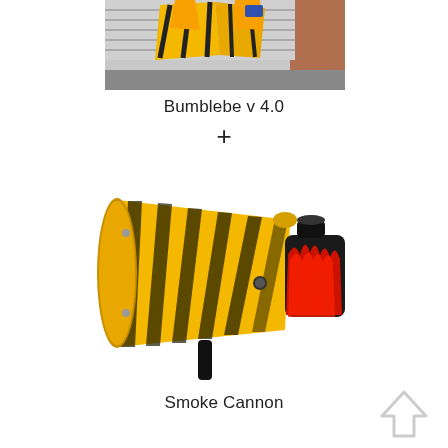[Figure (photo): Photo of a yellow and black robot/vehicle (Bumblebee v4.0) with orange accents, seen from the front, outdoors]
Bumblebe v 4.0
+
[Figure (photo): Photo of a yellow smoke cannon with black stripe markings and red flame graphics on the nozzle end, with a black handle at the bottom]
Smoke Cannon
[Figure (illustration): Upward-pointing arrow icon (house/arrow shape) in light gray, located at bottom right]